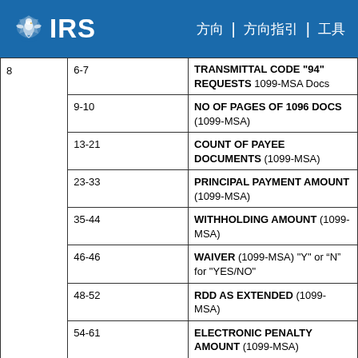IRS
|  | Positions | Description |
| --- | --- | --- |
| 8 | 6-7 | TRANSMITTAL CODE "94" REQUESTS 1099-MSA Docs |
|  | 9-10 | NO OF PAGES OF 1096 DOCS (1099-MSA) |
|  | 13-21 | COUNT OF PAYEE DOCUMENTS (1099-MSA) |
|  | 23-33 | PRINCIPAL PAYMENT AMOUNT (1099-MSA) |
|  | 35-44 | WITHHOLDING AMOUNT (1099-MSA) |
|  | 46-46 | WAIVER (1099-MSA) "Y" or “N” for "YES/NO" |
|  | 48-52 | RDD AS EXTENDED (1099-MSA) |
|  | 54-61 | ELECTRONIC PENALTY AMOUNT (1099-MSA) |
|  | 63-70 | LATE PENALTY AMOUNT (1099-MSA) |